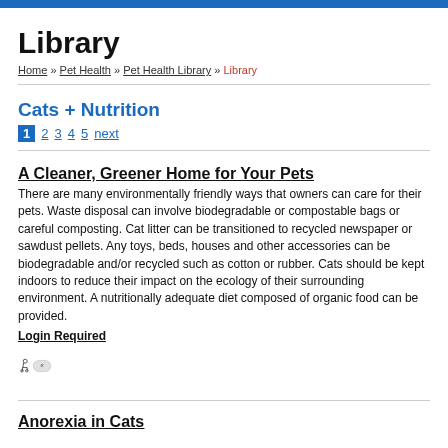Library
Home » Pet Health » Pet Health Library » Library
Cats + Nutrition
1 2 3 4 5 next
A Cleaner, Greener Home for Your Pets
There are many environmentally friendly ways that owners can care for their pets. Waste disposal can involve biodegradable or compostable bags or careful composting. Cat litter can be transitioned to recycled newspaper or sawdust pellets. Any toys, beds, houses and other accessories can be biodegradable and/or recycled such as cotton or rubber. Cats should be kept indoors to reduce their impact on the ecology of their surrounding environment. A nutritionally adequate diet composed of organic food can be provided.
Login Required
Anorexia in Cats